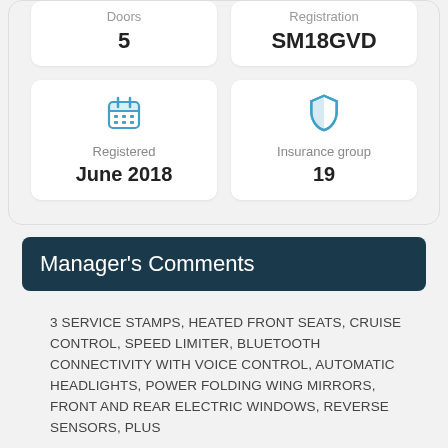| Doors | Registration |
| --- | --- |
| 5 | SM18GVD |
| Registered | Insurance group |
| --- | --- |
| June 2018 | 19 |
Manager's Comments
3 SERVICE STAMPS, HEATED FRONT SEATS, CRUISE CONTROL, SPEED LIMITER, BLUETOOTH CONNECTIVITY WITH VOICE CONTROL, AUTOMATIC HEADLIGHTS, POWER FOLDING WING MIRRORS, FRONT AND REAR ELECTRIC WINDOWS, REVERSE SENSORS, PLUS